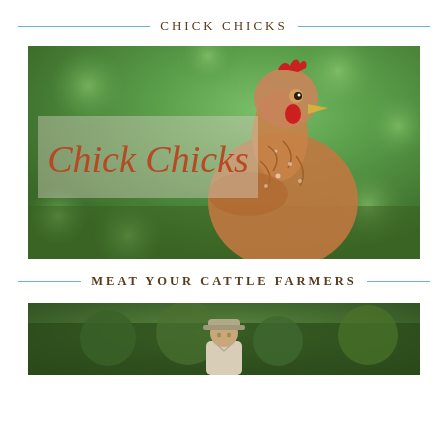CHICK CHICKS
[Figure (photo): Close-up photo of a brown/red hen chicken looking upward against a green blurred foliage background, with a semi-transparent overlay box containing the italic text 'Chick Chicks' in burnt orange/rust color]
MEAT YOUR CATTLE FARMERS
[Figure (photo): Photo of a farmer wearing a grey cap outdoors among green trees/hedges, partially visible at bottom of page]